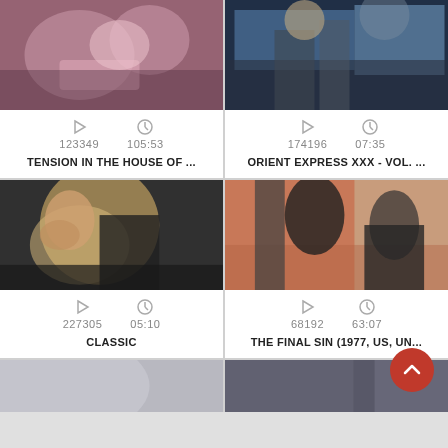[Figure (screenshot): Thumbnail image for video: TENSION IN THE HOUSE OF...]
123349   105:53
TENSION IN THE HOUSE OF ...
[Figure (screenshot): Thumbnail image for video: ORIENT EXPRESS XXX - VOL. ...]
174196   07:35
ORIENT EXPRESS XXX - VOL. ...
[Figure (screenshot): Thumbnail image for video: CLASSIC]
227305   05:10
CLASSIC
[Figure (screenshot): Thumbnail image for video: THE FINAL SIN (1977, US, UN...]
68192   63:07
THE FINAL SIN (1977, US, UN...
[Figure (screenshot): Partial thumbnail row at bottom left]
[Figure (screenshot): Partial thumbnail row at bottom right]